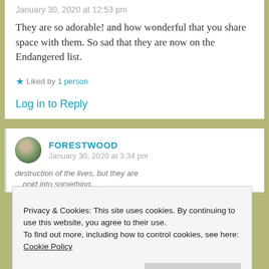January 30, 2020 at 12:53 pm
They are so adorable! and how wonderful that you share space with them. So sad that they are now on the Endangered list.
★ Liked by 1 person
Log in to Reply
FORESTWOOD
January 30, 2020 at 3:34 pm
Privacy & Cookies: This site uses cookies. By continuing to use this website, you agree to their use.
To find out more, including how to control cookies, see here: Cookie Policy
Close and accept